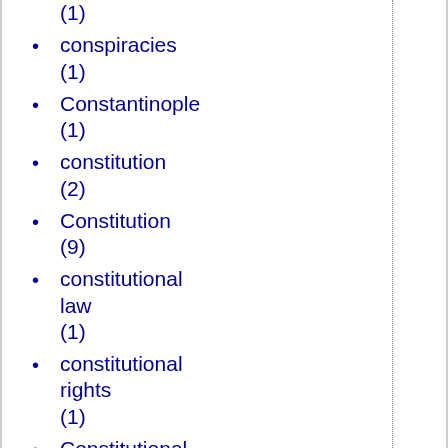(1)
conspiracies (1)
Constantinople (1)
constitution (2)
Constitution (9)
constitutional law (1)
constitutional rights (1)
Constitutional Unitarians (1)
Consumption (1)
Contemporary Music (1)
contraception (4)